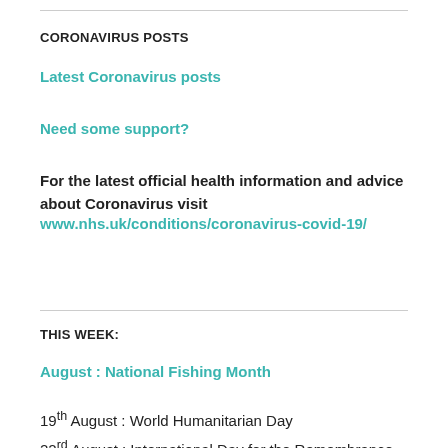CORONAVIRUS POSTS
Latest Coronavirus posts
Need some support?
For the latest official health information and advice about Coronavirus visit www.nhs.uk/conditions/coronavirus-covid-19/
THIS WEEK:
August : National Fishing Month
19th August : World Humanitarian Day
22nd August : International Day for the Remembrance of